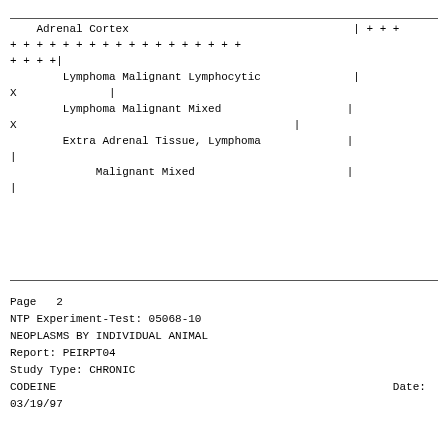Adrenal Cortex                              | + + +
+ + + + + + + + + + + + + + + + + +
+ + + +|
     Lymphoma Malignant Lymphocytic          |
X           |
     Lymphoma Malignant Mixed               |
X                                   |
     Extra Adrenal Tissue, Lymphoma         |
|
          Malignant Mixed                   |
|
Page   2
NTP Experiment-Test: 05068-10
NEOPLASMS BY INDIVIDUAL ANIMAL
Report: PEIRPT04
Study Type: CHRONIC
CODEINE                                                        Date:
03/19/97